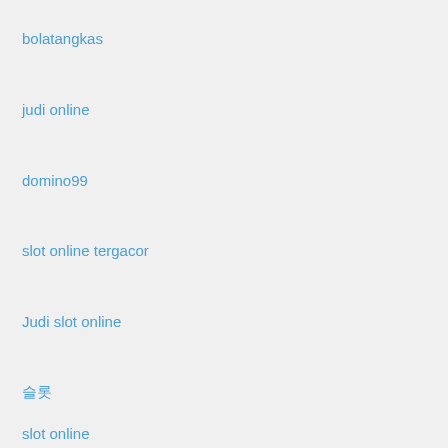bolatangkas
judi online
domino99
slot online tergacor
Judi slot online
슬롯
slot online